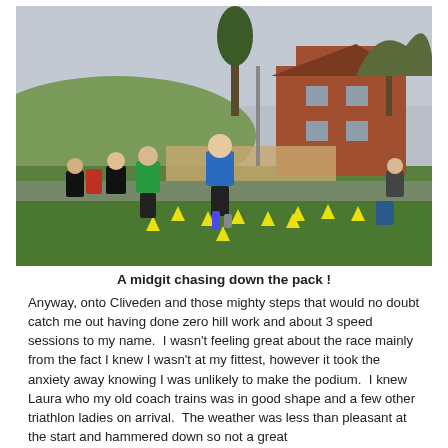[Figure (photo): Outdoor running race photo showing runners on a grass field with yellow cones marking the course. A man in a blue t-shirt and black shorts leads the pack, chasing ahead of several other runners including a man in green and a woman in black. Red brick houses and trees are visible in the background under an overcast sky.]
A midgit chasing down the pack !
Anyway, onto Cliveden and those mighty steps that would no doubt catch me out having done zero hill work and about 3 speed sessions to my name.  I wasn't feeling great about the race mainly from the fact I knew I wasn't at my fittest, however it took the anxiety away knowing I was unlikely to make the podium.  I knew Laura who my old coach trains was in good shape and a few other triathlon ladies on arrival.  The weather was less than pleasant at the start and hammered down so not a great